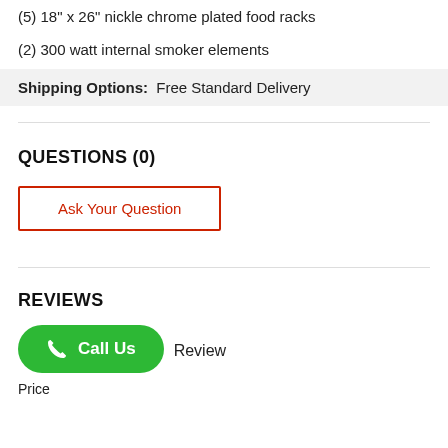(5) 18" x 26" nickle chrome plated food racks
(2) 300 watt internal smoker elements
Shipping Options:  Free Standard Delivery
QUESTIONS (0)
Ask Your Question
REVIEWS
Call Us
Review
Price